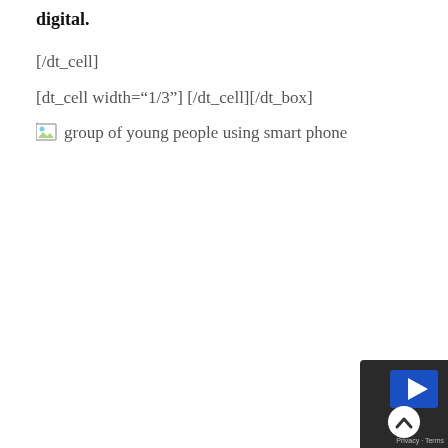digital.
[/dt_cell]
[dt_cell width="1/3"] [/dt_cell][/dt_box]
[Figure (other): Broken image placeholder with alt text: group of young people using smart phone]